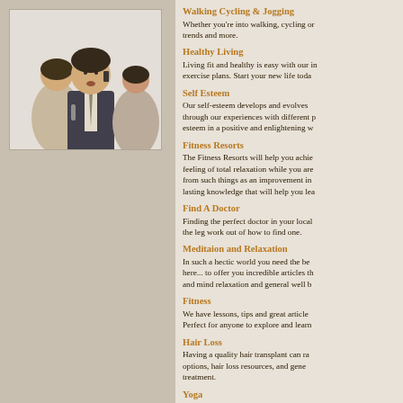[Figure (photo): A man in a dark suit talking on a mobile phone, with two women behind him in the background]
Walking Cycling & Jogging
Whether you're into walking, cycling or jogging, trends and more.
Healthy Living
Living fit and healthy is easy with our in exercise plans. Start your new life toda
Self Esteem
Our self-esteem develops and evolves through our experiences with different p esteem in a positive and enlightening w
Fitness Resorts
The Fitness Resorts will help you achie feeling of total relaxation while you are from such things as an improvement in lasting knowledge that will help you lea
Find A Doctor
Finding the perfect doctor in your local the leg work out of how to find one.
Meditaion and Relaxation
In such a hectic world you need the be here... to offer you incredible articles th and mind relaxation and general well b
Fitness
We have lessons, tips and great article Perfect for anyone to explore and learn
Hair Loss
Having a quality hair transplant can ra options, hair loss resources, and gene treatment.
Yoga
Find out about the origins of Yoga. Yo